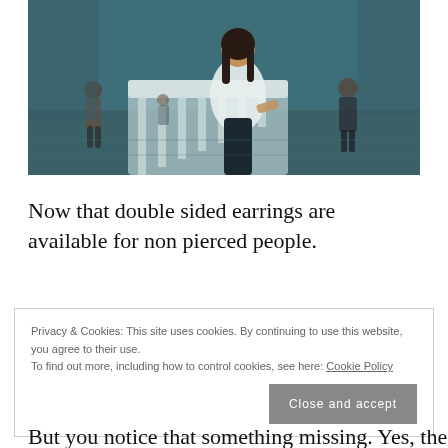[Figure (photo): Young woman with long dark hair wearing a white top and dark pants, standing near a staircase railing in what appears to be a large public building with a blue-teal color tone. Other people are visible in the background.]
Now that double sided earrings are available for non pierced people.
Privacy & Cookies: This site uses cookies. By continuing to use this website, you agree to their use.
To find out more, including how to control cookies, see here: Cookie Policy
Close and accept
But you notice that something missing. Yes, the